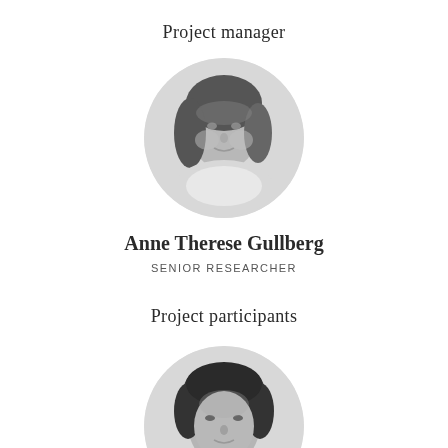Project manager
[Figure (photo): Black and white circular portrait photo of Anne Therese Gullberg, a woman with long hair and a scarf, smiling slightly.]
Anne Therese Gullberg
SENIOR RESEARCHER
Project participants
[Figure (photo): Black and white circular portrait photo of a man with short dark hair, partially cropped at the bottom of the page.]